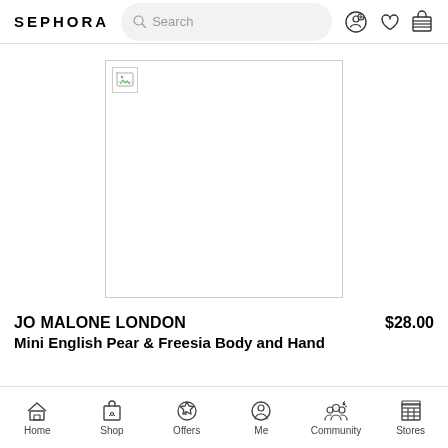SEPHORA
[Figure (photo): Product image placeholder (broken image icon) for Jo Malone London Mini English Pear & Freesia Body and Hand product]
JO MALONE LONDON  $28.00
Mini English Pear & Freesia  Body and Hand
Home  Shop  Offers  Me  Community  Stores